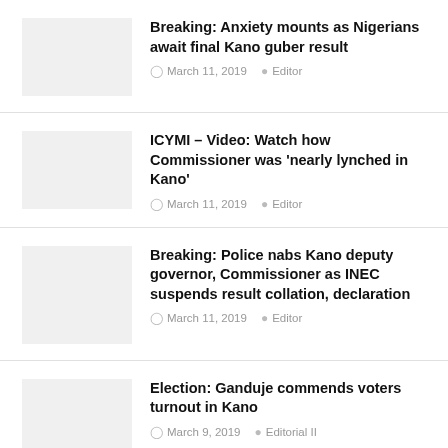Breaking: Anxiety mounts as Nigerians await final Kano guber result | March 11, 2019 | Editor
ICYMI – Video: Watch how Commissioner was 'nearly lynched in Kano' | March 11, 2019 | Editor
Breaking: Police nabs Kano deputy governor, Commissioner as INEC suspends result collation, declaration | March 11, 2019 | Editor
Election: Ganduje commends voters turnout in Kano | March 9, 2019 | Editorial II